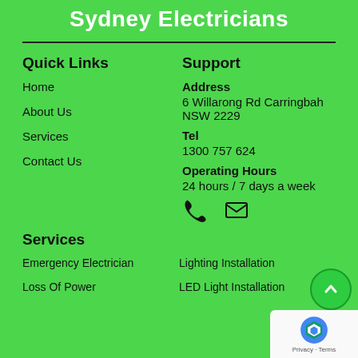Sydney Electricians
Quick Links
Home
About Us
Services
Contact Us
Support
Address
6 Willarong Rd Carringbah NSW 2229
Tel
1300 757 624
Operating Hours
24 hours / 7 days a week
[Figure (infographic): Phone and email icons]
Services
Emergency Electrician
Loss Of Power
Lighting Installation
LED Light Installation